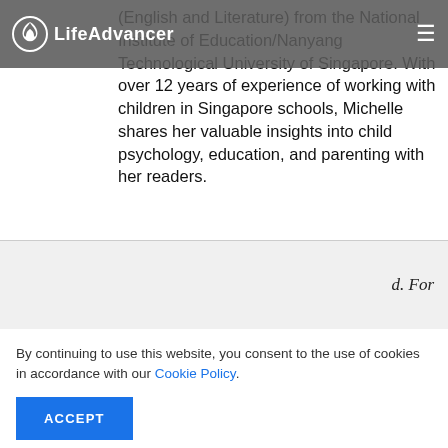LifeAdvancer
(English and Literature) from the National Institute of Education/Nanyang Technological University of Singapore. With over 12 years of experience of working with children in Singapore schools, Michelle shares her valuable insights into child psychology, education, and parenting with her readers.
d. For
By continuing to use this website, you consent to the use of cookies in accordance with our Cookie Policy.
ACCEPT
E, SELF-